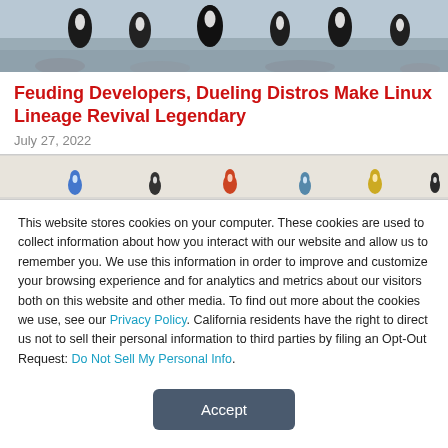[Figure (photo): Photo of penguins walking on rocky ground, cropped at top]
Feuding Developers, Dueling Distros Make Linux Lineage Revival Legendary
July 27, 2022
[Figure (illustration): Banner strip with small colorful penguin icons on a beige background]
This website stores cookies on your computer. These cookies are used to collect information about how you interact with our website and allow us to remember you. We use this information in order to improve and customize your browsing experience and for analytics and metrics about our visitors both on this website and other media. To find out more about the cookies we use, see our Privacy Policy. California residents have the right to direct us not to sell their personal information to third parties by filing an Opt-Out Request: Do Not Sell My Personal Info.
Accept